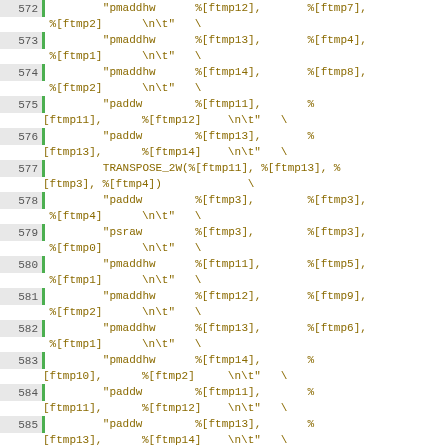Source code listing lines 572-589 with assembly-like instructions including pmaddhw, paddw, psraw, TRANSPOSE_2W, packsswb operations on ftmp registers
572  "pmaddhw   %[ftmp12],    %[ftmp7], %[ftmp2]  \n\t"  \
573  "pmaddhw   %[ftmp13],    %[ftmp4], %[ftmp1]  \n\t"  \
574  "pmaddhw   %[ftmp14],    %[ftmp8], %[ftmp2]  \n\t"  \
575  "paddw     %[ftmp11],    % [ftmp11],   %[ftmp12]  \n\t"  \
576  "paddw     %[ftmp13],    % [ftmp13],   %[ftmp14]  \n\t"  \
577  TRANSPOSE_2W(%[ftmp11], %[ftmp13], %[ftmp3], %[ftmp4])  \
578  "paddw     %[ftmp3],    %[ftmp3],  %[ftmp4]  \n\t"  \
579  "psraw     %[ftmp3],    %[ftmp3],  %[ftmp0]  \n\t"  \
580  "pmaddhw   %[ftmp11],    %[ftmp5], %[ftmp1]  \n\t"  \
581  "pmaddhw   %[ftmp12],    %[ftmp9], %[ftmp2]  \n\t"  \
582  "pmaddhw   %[ftmp13],    %[ftmp6], %[ftmp1]  \n\t"  \
583  "pmaddhw   %[ftmp14],    % [ftmp10],   %[ftmp2]  \n\t"  \
584  "paddw     %[ftmp11],    % [ftmp11],   %[ftmp12]  \n\t"  \
585  "paddw     %[ftmp13],    % [ftmp13],   %[ftmp14]  \n\t"  \
586  TRANSPOSE_2W(%[ftmp11], %[ftmp13], %[ftmp5], %[ftmp6])  \
587  "paddw     %[ftmp5],    %[ftmp5],  %[ftmp6]  \n\t"  \
588  "psraw     %[ftmp5],    %[ftmp5],  %[ftmp0]  \n\t"  \
589  "packsswb  %[ftmp3],    %[ftmp3]